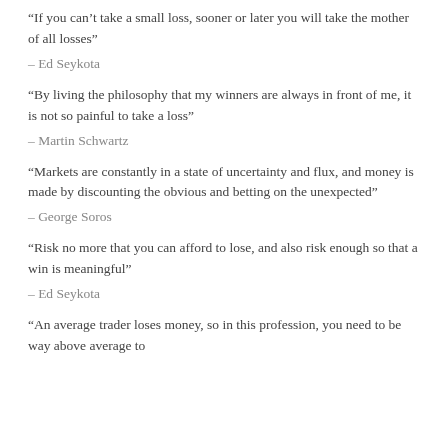“If you can’t take a small loss, sooner or later you will take the mother of all losses”
– Ed Seykota
“By living the philosophy that my winners are always in front of me, it is not so painful to take a loss”
– Martin Schwartz
“Markets are constantly in a state of uncertainty and flux, and money is made by discounting the obvious and betting on the unexpected”
– George Soros
“Risk no more that you can afford to lose, and also risk enough so that a win is meaningful”
– Ed Seykota
“An average trader loses money, so in this profession, you need to be way above average to